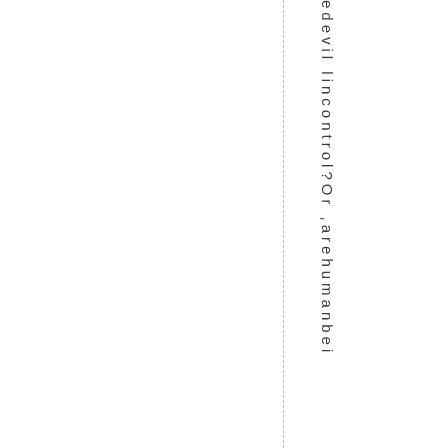e d e v i l l i n c o n t r o l ? O r , a r e h u m a n b e i